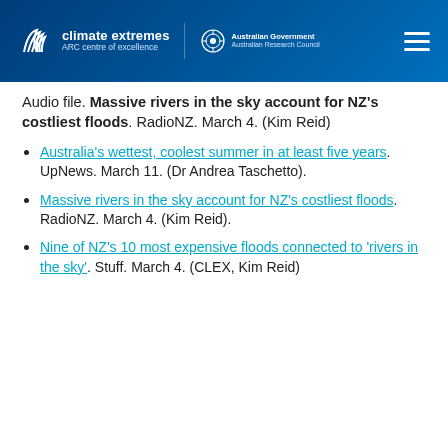Climate Extremes — ARC Centre of Excellence | Australian Government Australian Research Council
Audio file. Massive rivers in the sky account for NZ's costliest floods. RadioNZ. March 4. (Kim Reid)
Australia's wettest, coolest summer in at least five years. UpNews. March 11. (Dr Andrea Taschetto).
Massive rivers in the sky account for NZ's costliest floods. RadioNZ. March 4. (Kim Reid).
Nine of NZ's 10 most expensive floods connected to 'rivers in the sky'. Stuff. March 4. (CLEX, Kim Reid)